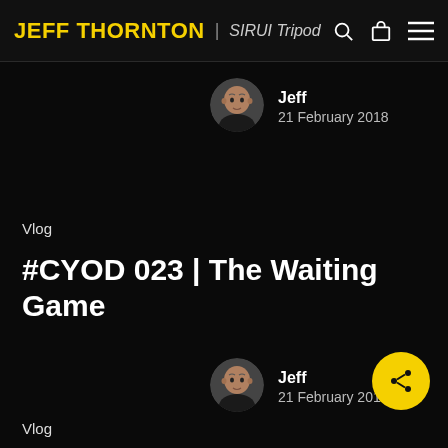JEFF THORNTON | SIRUI Tripod
[Figure (photo): Circular avatar photo of Jeff Thornton (bald man in dark clothing) at top]
Jeff
21 February 2018
Vlog
#CYOD 023 | The Waiting Game
[Figure (photo): Circular avatar photo of Jeff Thornton (bald man in dark clothing) at bottom]
Jeff
21 February 2018
Vlog